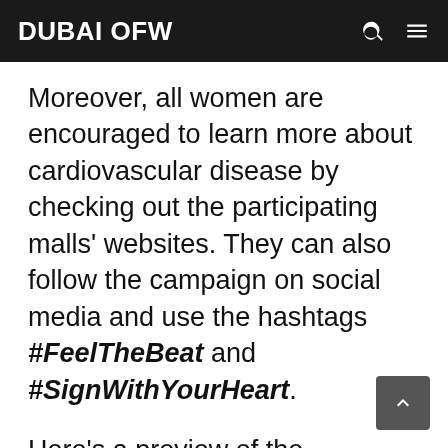DUBAI OFW
Moreover, all women are encouraged to learn more about cardiovascular disease by checking out the participating malls' websites. They can also follow the campaign on social media and use the hashtags #FeelTheBeat and #SignWithYourHeart.
Here's a preview of the upcoming event at City Centre Mirdif: